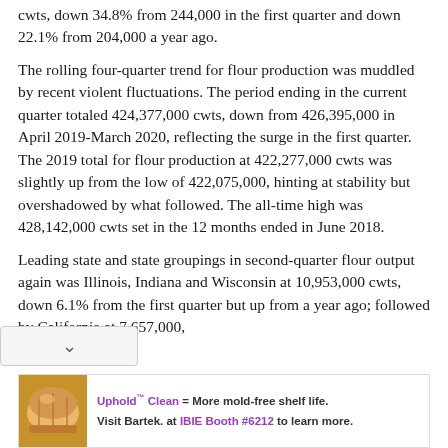cwts, down 34.8% from 244,000 in the first quarter and down 22.1% from 204,000 a year ago.
The rolling four-quarter trend for flour production was muddled by recent violent fluctuations. The period ending in the current quarter totaled 424,377,000 cwts, down from 426,395,000 in April 2019-March 2020, reflecting the surge in the first quarter. The 2019 total for flour production at 422,277,000 cwts was slightly up from the low of 422,075,000, hinting at stability but overshadowed by what followed. The all-time high was 428,142,000 cwts set in the 12 months ended in June 2018.
Leading state and state groupings in second-quarter flour output again was Illinois, Indiana and Wisconsin at 10,953,000 cwts, down 6.1% from the first quarter but up from a year ago; followed by California at 7,657,000,
[Figure (other): Advertisement banner: bread loaf image on left, text: 'Uphold Clean = More mold-free shelf life. Visit Bartek. at IBIE Booth #6212 to learn more.']